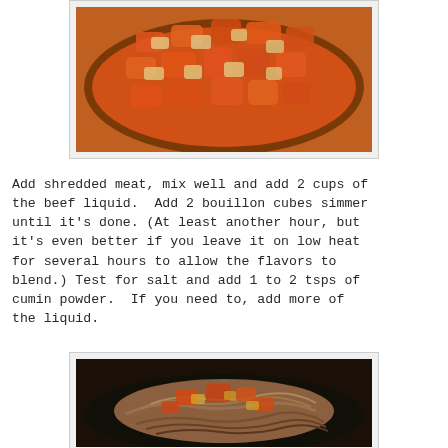[Figure (photo): A pan or dish containing chopped tomatoes and onions in a reddish-orange sauce, viewed from above.]
Add shredded meat, mix well and add 2 cups of the beef liquid.  Add 2 bouillon cubes simmer until it's done. (At least another hour, but it's even better if you leave it on low heat for several hours to allow the flavors to blend.) Test for salt and add 1 to 2 tsps of cumin powder.  If you need to, add more of the liquid.
[Figure (photo): A pile of shredded meat mixed with tomatoes and onions in a pan, viewed from above.]